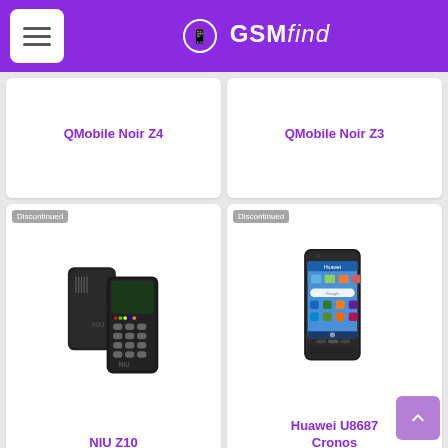GSMfind
QMobile Noir Z4
QMobile Noir Z3
[Figure (photo): NIU Z10 phone - black feature phone shown front and back with physical keypad, NIU branding visible. Labeled Discontinued.]
NIU Z10
[Figure (photo): Huawei U8687 Cronos - black Android smartphone with touchscreen showing Android home screen. Labeled Discontinued.]
Huawei U8687 Cronos
[Figure (photo): Partially visible flip phone (bottom row, left). Labeled Discontinued.]
[Figure (photo): Partially visible LG smartphone (bottom row, right). Labeled Discontinued.]